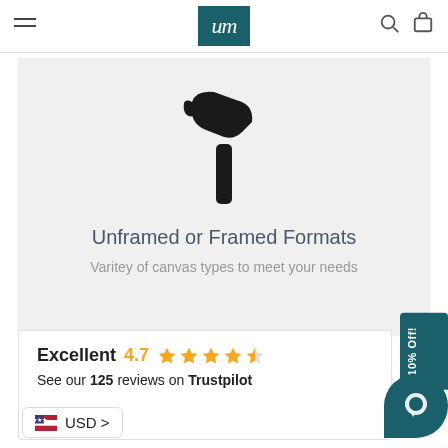um (logo)
[Figure (illustration): Black hammer icon (silhouette) centered on a light gray background]
Unframed or Framed Formats
Varitey of canvas types to meet your needs
Excellent 4.7 ★★★★½ See our 125 reviews on Trustpilot
🇺🇸 USD >